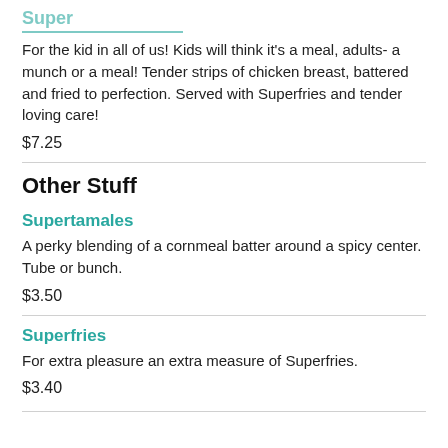Super [truncated]
For the kid in all of us! Kids will think it's a meal, adults- a munch or a meal! Tender strips of chicken breast, battered and fried to perfection. Served with Superfries and tender loving care!
$7.25
Other Stuff
Supertamales
A perky blending of a cornmeal batter around a spicy center. Tube or bunch.
$3.50
Superfries
For extra pleasure an extra measure of Superfries.
$3.40